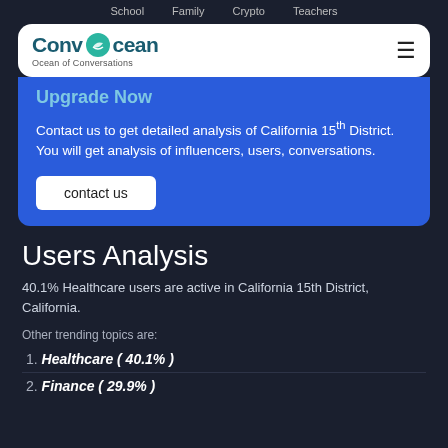School   Family   Crypto   Teachers
[Figure (logo): ConvOcean logo with wave icon and tagline 'Ocean of Conversations']
Upgrade Now
Contact us to get detailed analysis of California 15th District. You will get analysis of influencers, users, conversations.
contact us
Users Analysis
40.1% Healthcare users are active in California 15th District, California.
Other trending topics are:
Healthcare ( 40.1% )
Finance ( 29.9% )